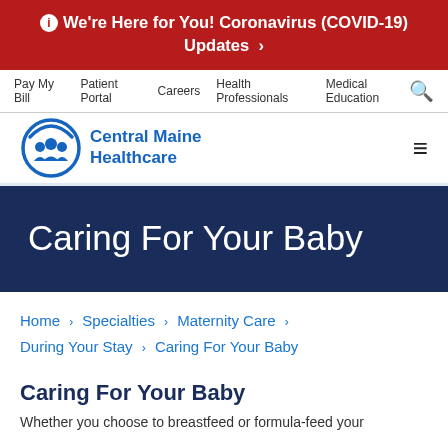ℹ We're Here for You! Coronavirus (COVID-19) Updates ›
Pay My Bill  Patient Portal  Careers  Health Professionals  Medical Education
[Figure (logo): Central Maine Healthcare logo with blue circular icon showing three figures and circular arrow, and bold blue text 'Central Maine Healthcare']
Caring For Your Baby
Home › Specialties › Maternity Care › During Your Stay › Caring For Your Baby
Caring For Your Baby
Whether you choose to breastfeed or formula-feed your